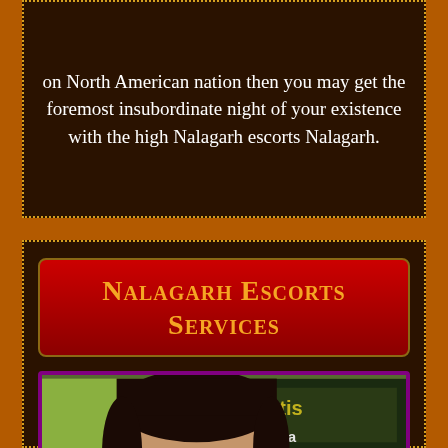on North American nation then you may get the foremost insubordinate night of your existence with the high Nalagarh escorts Nalagarh.
Nalagarh Escorts Services
[Figure (photo): Portrait photo of a young woman with dark short hair, looking at camera, with a colorful background showing partial text/signage]